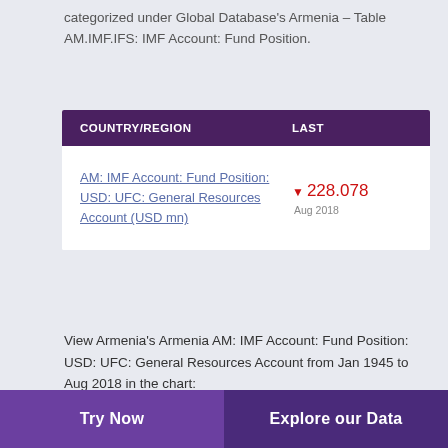categorized under Global Database's Armenia – Table AM.IMF.IFS: IMF Account: Fund Position.
| COUNTRY/REGION | LAST |
| --- | --- |
| AM: IMF Account: Fund Position: USD: UFC: General Resources Account (USD mn) | ▼ 228.078 Aug 2018 |
View Armenia's Armenia AM: IMF Account: Fund Position: USD: UFC: General Resources Account from Jan 1945 to Aug 2018 in the chart:
Try Now    Explore our Data